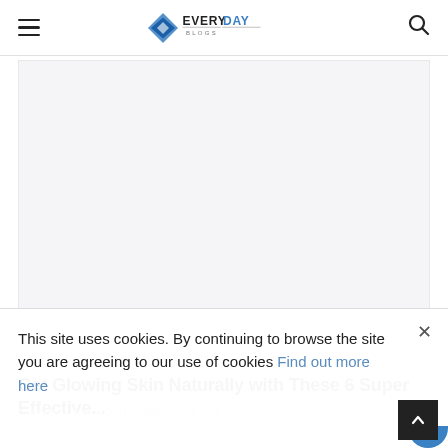EVERYDAY BLOGS — navigation header with hamburger menu and search icon
[Figure (photo): Large light gray placeholder image area for article thumbnail]
Get Glowing Skin Naturally with These 6 Super Effective...
Category · Nov 5, 2021 · Author · 100
This site uses cookies. By continuing to browse the site you are agreeing to our use of cookies Find out more here